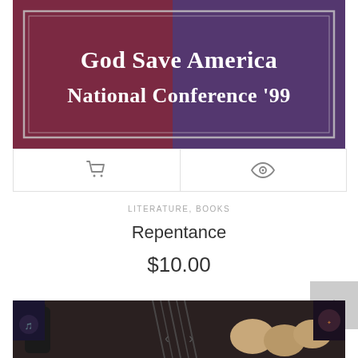[Figure (photo): Book/DVD cover image with red, white and blue textured background. White text reads 'God Save America National Conference '99' with a decorative silver border frame.]
LITERATURE, BOOKS
Repentance
$10.00
[Figure (photo): Bottom section showing a cooking/kitchen scene with eggs, a whisk, and a dark bottle on a dark background.]